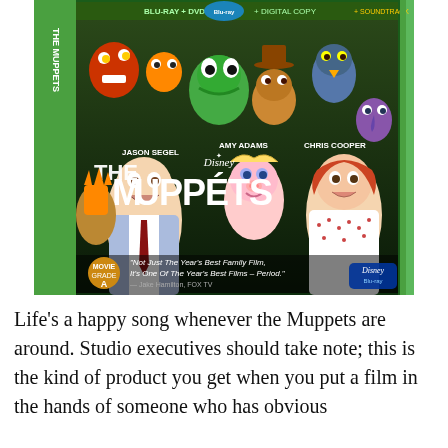[Figure (photo): DVD/Blu-ray box art for Disney's The Muppets (2011). Green border packaging with Muppets characters and actors Jason Segel, Amy Adams, Chris Cooper. Quote reads: 'Not Just The Year's Best Family Film, It's One Of The Year's Best Films – Period.' — Jake Hamilton, FOX TV. Includes Disney and Blu-ray logos.]
Life's a happy song whenever the Muppets are around. Studio executives should take note; this is the kind of product you get when you put a film in the hands of someone who has obvious